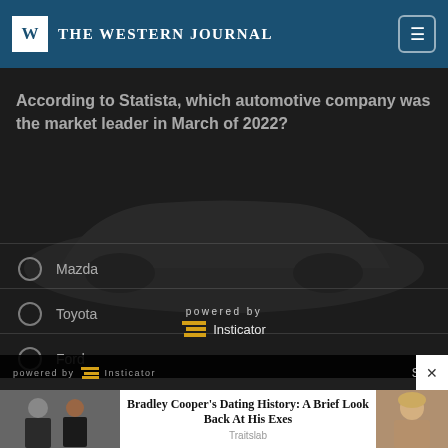THE WESTERN JOURNAL
According to Statista, which automotive company was the market leader in March of 2022?
Mazda
Toyota
Ford
Hyundai
powered by Insticator
powered by Insticator   Skip
[Figure (photo): Photo of two people in formal attire (man in tuxedo, woman in black) — Bradley Cooper and Irina Shayk]
Bradley Cooper's Dating History: A Brief Look Back At His Exes
Traitslab
[Figure (photo): Photo of blonde woman — appears to be a celebrity]